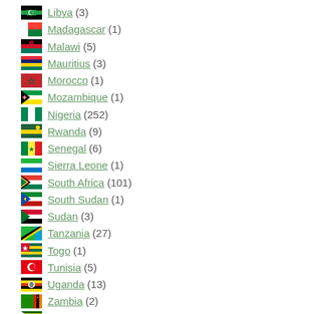Libya (3)
Madagascar (1)
Malawi (5)
Mauritius (3)
Morocco (1)
Mozambique (1)
Nigeria (252)
Rwanda (9)
Senegal (6)
Sierra Leone (1)
South Africa (101)
South Sudan (1)
Sudan (3)
Tanzania (27)
Togo (1)
Tunisia (5)
Uganda (13)
Zambia (2)
Zimbabwe (12)
Current Issue
[Figure (other): Thumbnail image placeholder for current issue]